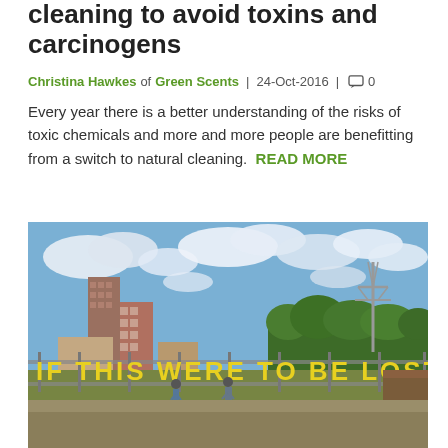cleaning to avoid toxins and carcinogens
Christina Hawkes of Green Scents | 24-Oct-2016 | 0
Every year there is a better understanding of the risks of toxic chemicals and more and more people are benefitting from a switch to natural cleaning. READ MORE
[Figure (photo): Outdoor photograph showing a green field / open space with large yellow letters spelling 'IF THIS WERE TO BE LOST' on a fence or scaffold structure. Background shows residential buildings, trees, and a cloudy blue sky.]